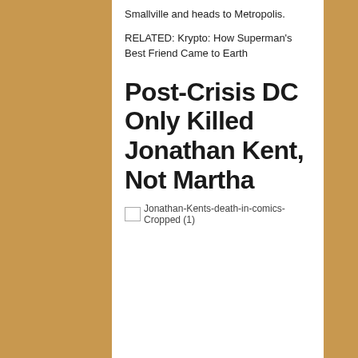Smallville and heads to Metropolis.
RELATED: Krypto: How Superman's Best Friend Came to Earth
Post-Crisis DC Only Killed Jonathan Kent, Not Martha
[Figure (photo): Broken image placeholder labeled Jonathan-Kents-death-in-comics-Cropped (1)]
John Byrne changed the Superman mythos quite a bit, with a huge change being how he handled the Kents. Much younger than those originally portrayed when they find Clark, they will live long